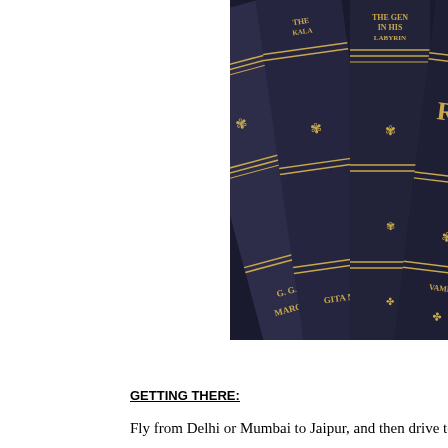[Figure (photo): Close-up photo of dark navy/blue leather-bound book spines arranged diagonally, with gold lettering and decorative gold lines. Visible text on spines includes 'THE GENERAL IN HIS LABYRINTH', 'RAJ', 'G.G. MARQUEZ', 'GITA ME...' and partial other titles. The books have ornate gold floral decorations between bands.]
GETTING THERE:
Fly from Delhi or Mumbai to Jaipur, and then drive to Sher Bag